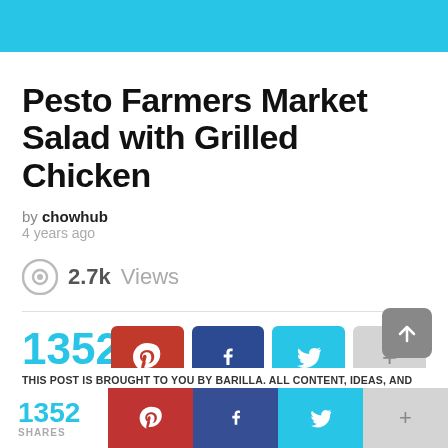Pesto Farmers Market Salad with Grilled Chicken
by chowhub
4 years ago
2.7k Views
1352 SHARES
THIS POST IS BROUGHT TO YOU BY BARILLA. ALL CONTENT, IDEAS, AND
1352 SHARES